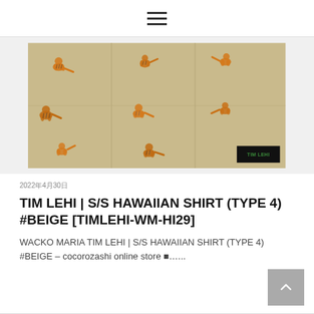hamburger menu icon
[Figure (photo): Product photo of a beige Hawaiian shirt fabric folded, featuring an all-over tiger print pattern in orange/gold on khaki/beige background. A black brand tag with green text is visible in the bottom right corner of the fabric.]
2022年4月30日
TIM LEHI | S/S HAWAIIAN SHIRT (TYPE 4) #BEIGE [TIMLEHI-WM-HI29]
WACKO MARIA TIM LEHI | S/S HAWAIIAN SHIRT (TYPE 4) #BEIGE – cocorozashi online store ■…...